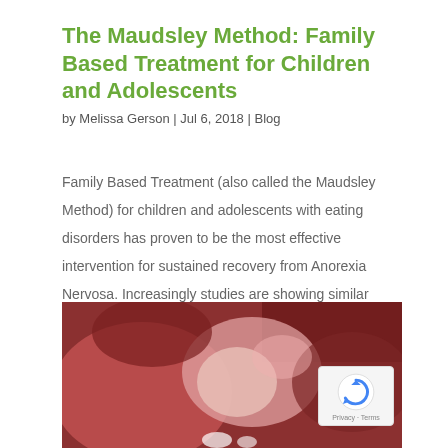The Maudsley Method: Family Based Treatment for Children and Adolescents
by Melissa Gerson | Jul 6, 2018 | Blog
Family Based Treatment (also called the Maudsley Method) for children and adolescents with eating disorders has proven to be the most effective intervention for sustained recovery from Anorexia Nervosa. Increasingly studies are showing similar success in recovery...
[Figure (photo): Abstract reddish-pink image, possibly stylized illustration of figures or shapes, used as article header image.]